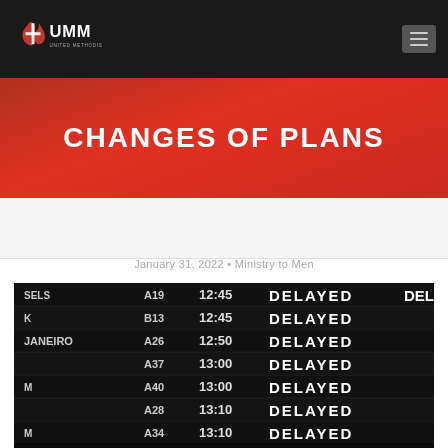UMM - United Methodist Men navigation bar
CHANGES OF PLANS
January 31, 2022 • Ministry to Men
[Figure (photo): Airport departure board showing multiple flight delays. Rows show destinations including Janeiro with gate numbers A19, B13, A26, A37, A40, A28, A34 and times 12:45, 12:45, 12:50, 13:00, 13:00, 13:10 all marked DELAYED.]